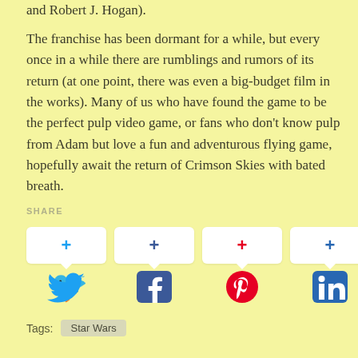and Robert J. Hogan).
The franchise has been dormant for a while, but every once in a while there are rumblings and rumors of its return (at one point, there was even a big-budget film in the works). Many of us who have found the game to be the perfect pulp video game, or fans who don't know pulp from Adam but love a fun and adventurous flying game, hopefully await the return of Crimson Skies with bated breath.
SHARE
[Figure (infographic): Four social share buttons: Twitter, Facebook, Pinterest, LinkedIn — each with a white speech-bubble box showing a plus sign, and the social network icon below.]
Tags: Star Wars